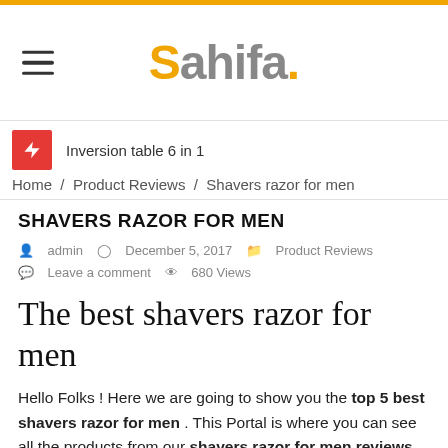Sahifa.
Inversion table 6 in 1
Home / Product Reviews / Shavers razor for men
SHAVERS RAZOR FOR MEN
admin  December 5, 2017  Product Reviews  Leave a comment  680 Views
The best shavers razor for men
Hello Folks ! Here we are going to show you the top 5 best shavers razor for men . This Portal is where you can see all the products from our shavers razor for men reviews.